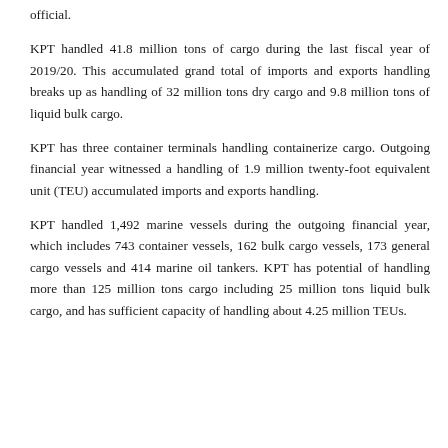official.
KPT handled 41.8 million tons of cargo during the last fiscal year of 2019/20. This accumulated grand total of imports and exports handling breaks up as handling of 32 million tons dry cargo and 9.8 million tons of liquid bulk cargo.
KPT has three container terminals handling containerize cargo. Outgoing financial year witnessed a handling of 1.9 million twenty-foot equivalent unit (TEU) accumulated imports and exports handling.
KPT handled 1,492 marine vessels during the outgoing financial year, which includes 743 container vessels, 162 bulk cargo vessels, 173 general cargo vessels and 414 marine oil tankers. KPT has potential of handling more than 125 million tons cargo including 25 million tons liquid bulk cargo, and has sufficient capacity of handling about 4.25 million TEUs.